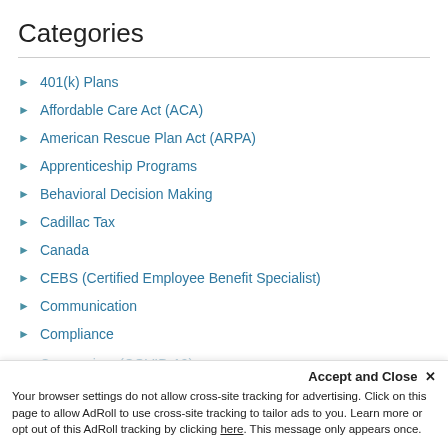Categories
401(k) Plans
Affordable Care Act (ACA)
American Rescue Plan Act (ARPA)
Apprenticeship Programs
Behavioral Decision Making
Cadillac Tax
Canada
CEBS (Certified Employee Benefit Specialist)
Communication
Compliance
Coronavirus (COVID-19)
Accept and Close ✕
Your browser settings do not allow cross-site tracking for advertising. Click on this page to allow AdRoll to use cross-site tracking to tailor ads to you. Learn more or opt out of this AdRoll tracking by clicking here. This message only appears once.